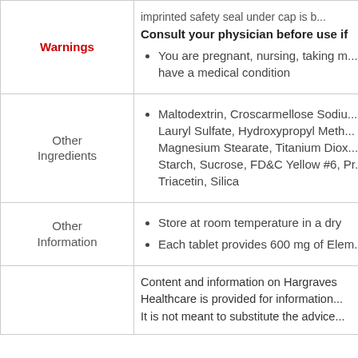| Category | Content |
| --- | --- |
| Warnings | imprinted safety seal under cap is b... Consult your physician before use if • You are pregnant, nursing, taking m... have a medical condition |
| Other Ingredients | • Maltodextrin, Croscarmellose Sodiu... Lauryl Sulfate, Hydroxypropyl Meth... Magnesium Stearate, Titanium Diox... Starch, Sucrose, FD&C Yellow #6, Pr... Triacetin, Silica |
| Other Information | • Store at room temperature in a dry... • Each tablet provides 600 mg of Elem... |
|  | Content and information on Hargraves... Healthcare is provided for information... It is not meant to substitute the advice... |